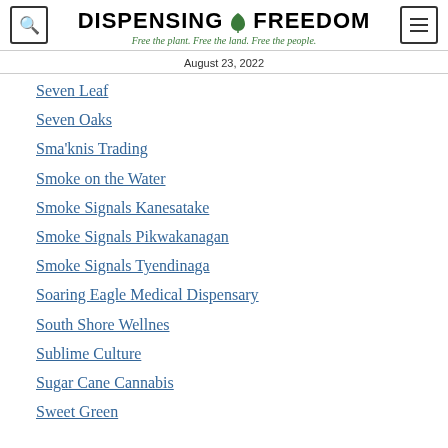DISPENSING FREEDOM - Free the plant. Free the land. Free the people.
August 23, 2022
Seven Leaf
Seven Oaks
Sma'knis Trading
Smoke on the Water
Smoke Signals Kanesatake
Smoke Signals Pikwakanagan
Smoke Signals Tyendinaga
Soaring Eagle Medical Dispensary
South Shore Wellnes
Sublime Culture
Sugar Cane Cannabis
Sweet Green